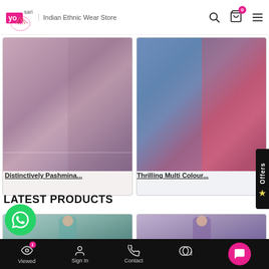yo|sari | Indian Ethnic Wear Store
[Figure (photo): Distinctively Pashmina product image showing Indian ethnic wear in pink/purple tones]
Distinctively Pashmina...
[Figure (photo): Thrilling Multi Colour product image showing Indian ethnic wear in blue/pink tones]
Thrilling Multi Colour...
LATEST PRODUCTS
[Figure (photo): Latest product photo showing woman in teal Indian ethnic wear]
[Figure (photo): Latest product photo showing woman in purple Indian ethnic wear]
Viewed (1) | Sign In | Contact | $ | (chat)